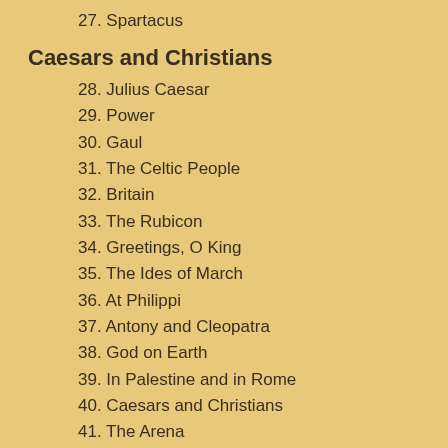27. Spartacus
Caesars and Christians
28. Julius Caesar
29. Power
30. Gaul
31. The Celtic People
32. Britain
33. The Rubicon
34. Greetings, O King
35. The Ides of March
36. At Philippi
37. Antony and Cleopatra
38. God on Earth
39. In Palestine and in Rome
40. Caesars and Christians
41. The Arena
Early History of Britain and the Fall of the Roman Empire
42. The Stone Age